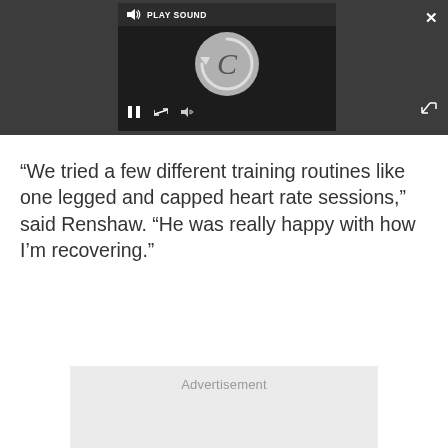[Figure (screenshot): Video player embedded in dark gray bar showing a loading spinner (circular arrow with C symbol), play sound button with speaker icon, pause button, and player controls. An X close button appears top-right and a fullscreen expand icon bottom-right of the dark bar.]
“We tried a few different training routines like one legged and capped heart rate sessions,” said Renshaw. “He was really happy with how I’m recovering.”
Advertisement